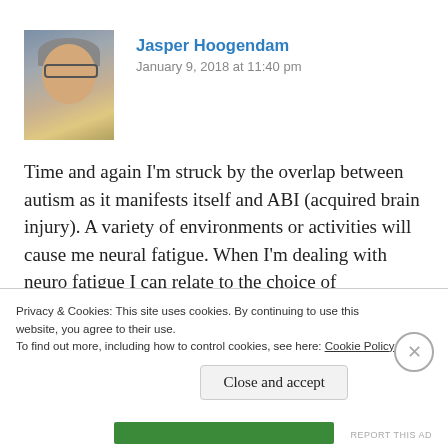[Figure (photo): Profile photo of Jasper Hoogendam, an older man with glasses and gray hair, wearing a yellow jacket, with a reddish outdoor background.]
Jasper Hoogendam
January 9, 2018 at 11:40 pm
Time and again I'm struck by the overlap between autism as it manifests itself and ABI (acquired brain injury). A variety of environments or activities will cause me neural fatigue. When I'm dealing with neuro fatigue I can relate to the choice of conserving energy and
Privacy & Cookies: This site uses cookies. By continuing to use this website, you agree to their use.
To find out more, including how to control cookies, see here: Cookie Policy
Close and accept